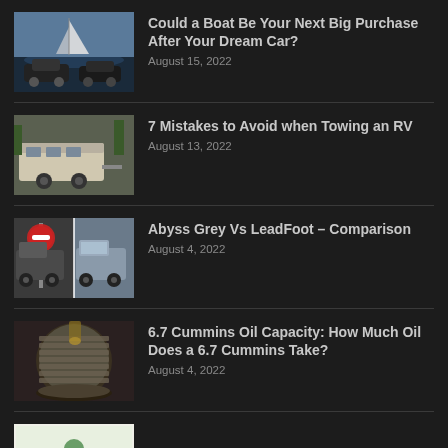Could a Boat Be Your Next Big Purchase After Your Dream Car? — August 15, 2022
7 Mistakes to Avoid when Towing an RV — August 13, 2022
Abyss Grey Vs LeadFoot – Comparison — August 4, 2022
6.7 Cummins Oil Capacity: How Much Oil Does a 6.7 Cummins Take? — August 4, 2022
(partial) article with diagram thumbnail